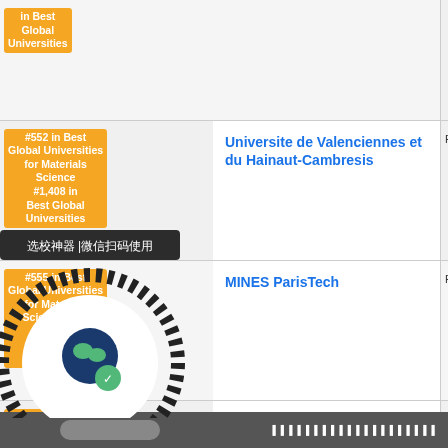| Rank | University | Country |
| --- | --- | --- |
| #in Best Global Universities |  |  |
| #552 in Best Global Universities for Materials Science #1,408 in Best Global Universities | Universite de Valenciennes et du Hainaut-Cambresis | F |
| #555 in Best Global Universities for Materials Science #954 in Best Global Universities | MINES ParisTech | F |
| #556 in Best Global Universities | University of Seville | S |
[Figure (other): WeChat QR code watermark overlay with Chinese text label '选校神器 | 微信扫码使用' (School selection tool, use WeChat to scan)]